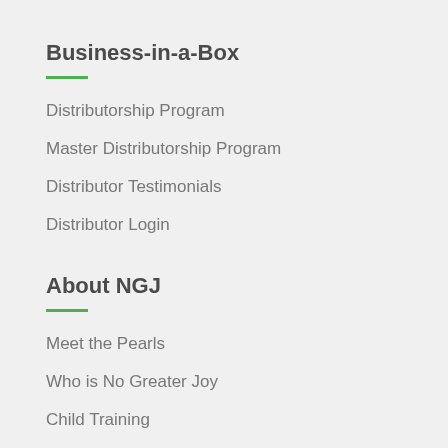Business-in-a-Box
Distributorship Program
Master Distributorship Program
Distributor Testimonials
Distributor Login
About NGJ
Meet the Pearls
Who is No Greater Joy
Child Training